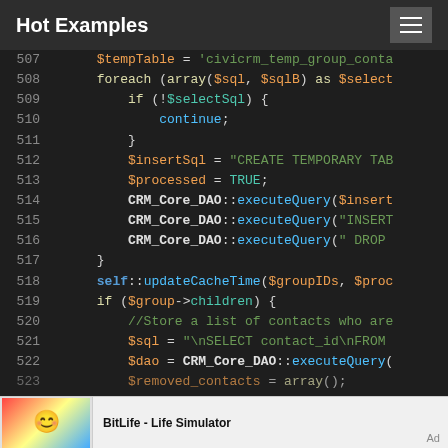Hot Examples
[Figure (screenshot): Syntax-highlighted PHP source code lines 507–523 on dark background]
BitLife - Life Simulator  Ad